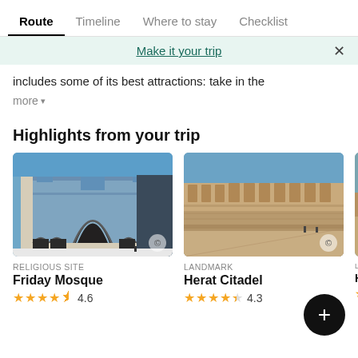Route | Timeline | Where to stay | Checklist
Make it your trip
includes some of its best attractions: take in the
more
Highlights from your trip
[Figure (photo): Friday Mosque - blue tiled Islamic architecture with arched entrance]
RELIGIOUS SITE
Friday Mosque
4.6
[Figure (photo): Herat Citadel - tan stone fortress with long corridor]
LANDMARK
Herat Citadel
4.3